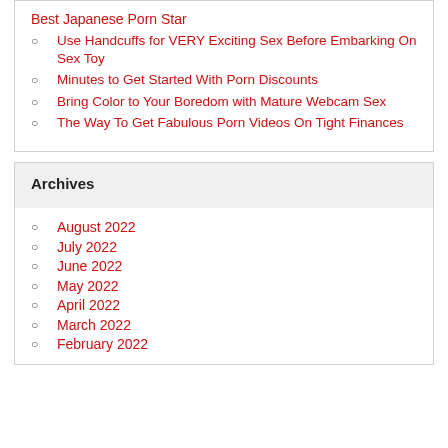Best Japanese Porn Star
Use Handcuffs for VERY Exciting Sex Before Embarking On Sex Toy
Minutes to Get Started With Porn Discounts
Bring Color to Your Boredom with Mature Webcam Sex
The Way To Get Fabulous Porn Videos On Tight Finances
Archives
August 2022
July 2022
June 2022
May 2022
April 2022
March 2022
February 2022